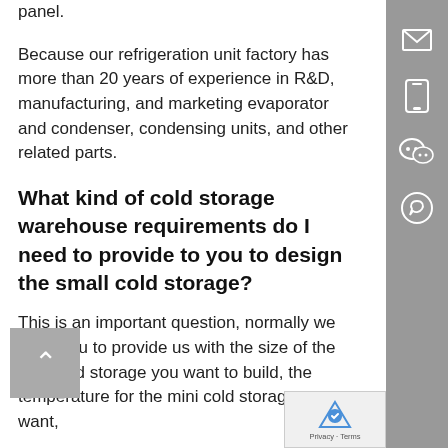panel.
Because our refrigeration unit factory has more than 20 years of experience in R&D, manufacturing, and marketing evaporator and condenser, condensing units, and other related parts.
What kind of cold storage warehouse requirements do I need to provide to you to design the small cold storage?
This is an important question, normally we need you to provide us with the size of the mini cold storage you want to build, the temperature for the mini cold storage you want,